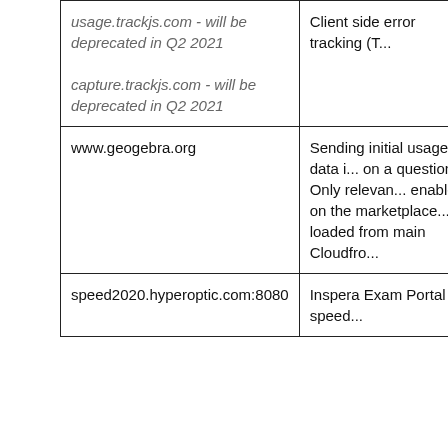| URL/Domain | Description |
| --- | --- |
| usage.trackjs.com - will be deprecated in Q2 2021

capture.trackjs.com - will be deprecated in Q2 2021 | Client side error tracking (T... |
| www.geogebra.org | Sending initial usage data i... on a question. Only relevan... enabled on the marketplace... loaded from main Cloudfro... |
| speed2020.hyperoptic.com:8080 | Inspera Exam Portal speed... |
| Environment | IP address |
| --- | --- |
| Inspera Assessment Production | 54.72.116.46 |